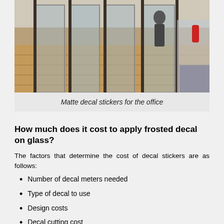[Figure (photo): Indoor office space with glass partitions and wooden flooring, showing matte decal stickers applied to glass panels]
Matte decal stickers for the office
How much does it cost to apply frosted decal on glass?
The factors that determine the cost of decal stickers are as follows:
Number of decal meters needed
Type of decal to use
Design costs
Decal cutting cost
Construction distance